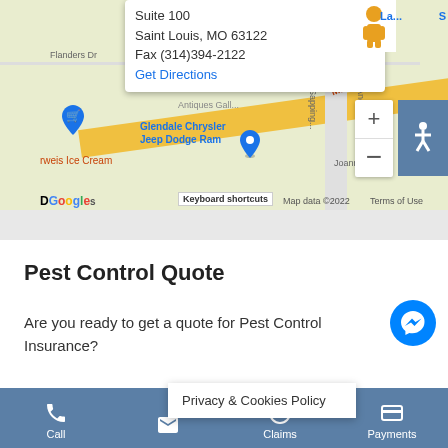[Figure (screenshot): Google Maps screenshot showing a location in Saint Louis, MO area with a popup showing Suite 100, Saint Louis, MO 63122, Fax (314)394-2122, and a Get Directions link. Map shows Glendale Chrysler Jeep Dodge Ram, Antiques area, and various road labels.]
Pest Control Quote
Are you ready to get a quote for Pest Control Insurance?
Privacy & Cookies Policy
Call  Claims  Payments